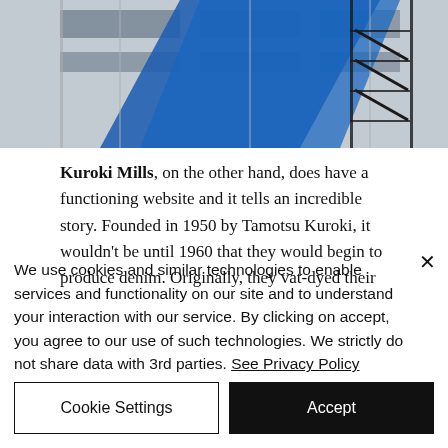[Figure (photo): Partial view of a building exterior with blue diagonal stripe/awning and metal fire escape stairs, grey siding visible]
Kuroki Mills, on the other hand, does have a functioning website and it tells an incredible story. Founded in 1950 by Tamotsu Kuroki, it wouldn't be until 1960 that they would begin to produce denim. Originally, they vat-dyed their
We use cookies and similar technologies to enable services and functionality on our site and to understand your interaction with our service. By clicking on accept, you agree to our use of such technologies. We strictly do not share data with 3rd parties. See Privacy Policy
Cookie Settings
Accept